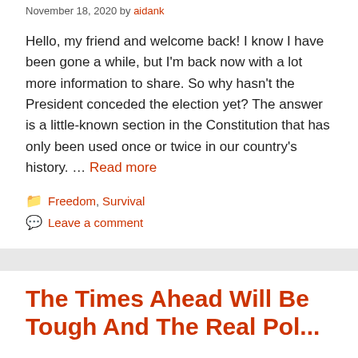November 18, 2020 by aidank
Hello, my friend and welcome back! I know I have been gone a while, but I'm back now with a lot more information to share. So why hasn't the President conceded the election yet? The answer is a little-known section in the Constitution that has only been used once or twice in our country's history. … Read more
Freedom, Survival
Leave a comment
The Times Ahead Will Be Tough And The Real Poli...